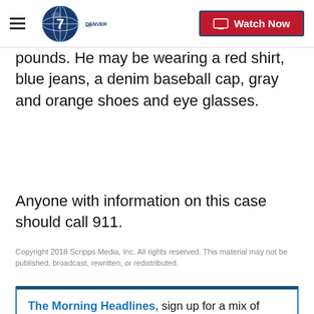Denver 7 | Watch Now
pounds. He may be wearing a red shirt, blue jeans, a denim baseball cap, gray and orange shoes and eye glasses.
Anyone with information on this case should call 911.
Copyright 2018 Scripps Media, Inc. All rights reserved. This material may not be published, broadcast, rewritten, or redistributed.
The Morning Headlines, sign up for a mix of what you need to know to start the day in Colorado, picked for you.